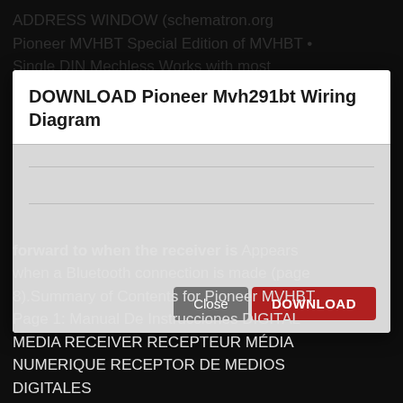ADDRESS WINDOW (schematron.org Pioneer MVHBT Special Edition of MVHBT • Single DIN Mechless Works with most Bluetooth enabled cell phones; Includes an external...
DOWNLOAD Pioneer Mvh291bt Wiring Diagram
Close | DOWNLOAD
forward to when the receiver is Appears when a Bluetooth connection is made (page 8).Summary of Contents for Pioneer MVHBT Page 1: Manual De Instrucciones DIGITAL MEDIA RECEIVER RECEPTEUR MÉDIA NUMERIQUE RECEPTOR DE MEDIOS DIGITALES...